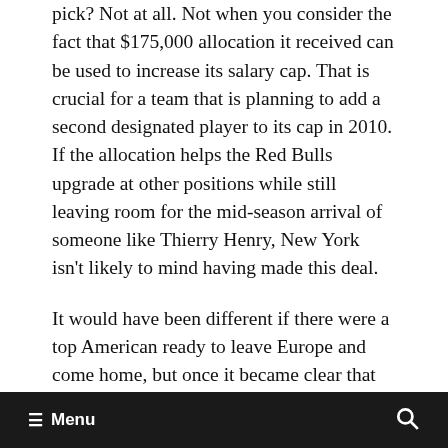pick? Not at all. Not when you consider the fact that $175,000 allocation it received can be used to increase its salary cap. That is crucial for a team that is planning to add a second designated player to its cap in 2010. If the allocation helps the Red Bulls upgrade at other positions while still leaving room for the mid-season arrival of someone like Thierry Henry, New York isn't likely to mind having made this deal.
It would have been different if there were a top American ready to leave Europe and come home, but once it became clear that players such as Carlos Bocanegra and DaMarcus Beasley had no
≡ Menu  🔍